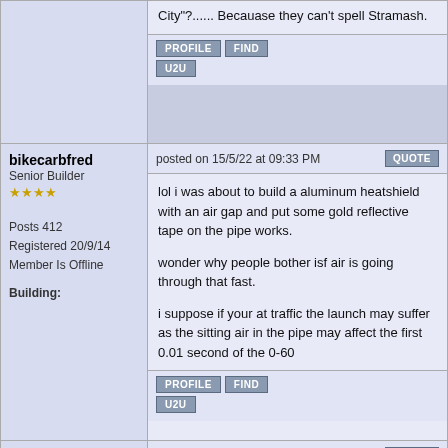City"?...... Becauase they can't spell Stramash.
PROFILE  FIND  U2U
bikecarbfred
Senior Builder
Posts 412
Registered 20/9/14
Member Is Offline
Building:
posted on 15/5/22 at 09:33 PM
lol i was about to build a aluminum heatshield with an air gap and put some gold reflective tape on the pipe works.

wonder why people bother isf air is going through that fast.

i suppose if your at traffic the launch may suffer as the sitting air in the pipe may affect the first 0.01 second of the 0-60
PROFILE  FIND  U2U
adithorp
Contributor
posted on 15/5/22 at 10:38 PM
Those figures are out. 4 stroke motor only draws its capacity every two revolutions.